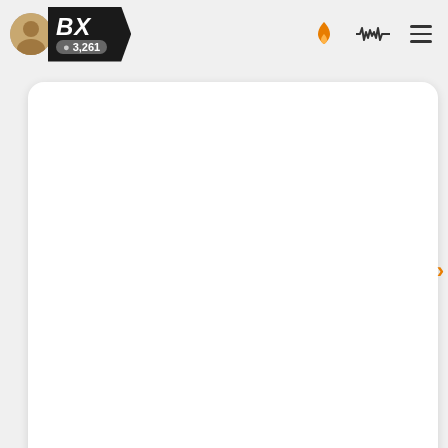BX | 3,261
[Figure (screenshot): White card area (top post content area, mostly blank)]
🔼 🎵 Boldy James - "Power Nap" (Produced By Nicholas Craven)
@hiphop  |  4 replies  |  31 min ago
👥 3  |  by Eclectic  |  16 min
most viewed right now